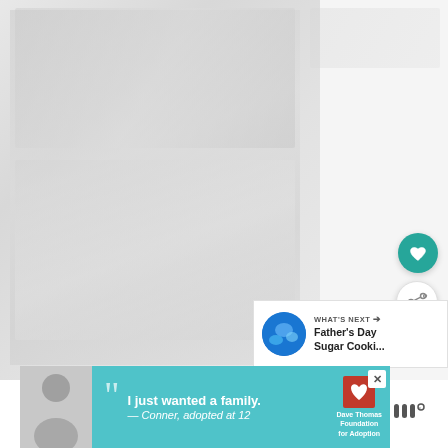[Figure (photo): Faded/blurred background photo of food or recipe content, mostly washed out]
[Figure (other): Floating teal circular heart/favorite button]
[Figure (other): Floating white circular share button with share icon]
[Figure (other): What's Next panel showing thumbnail and text: Father's Day Sugar Cooki...]
[Figure (other): Advertisement banner - Dave Thomas Foundation for Adoption. Quote: I just wanted a family. — Conner, adopted at 12]